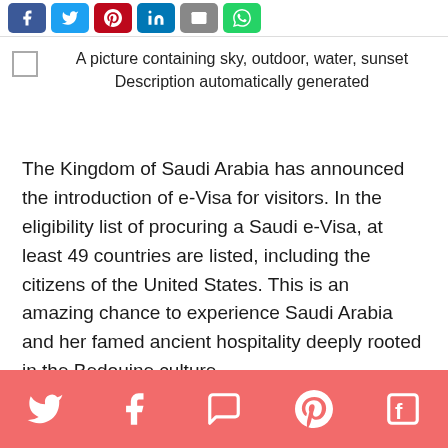[Figure (screenshot): Social share buttons: Facebook, Twitter, Pinterest, LinkedIn, Email, WhatsApp]
A picture containing sky, outdoor, water, sunset Description automatically generated
The Kingdom of Saudi Arabia has announced the introduction of e-Visa for visitors. In the eligibility list of procuring a Saudi e-Visa, at least 49 countries are listed, including the citizens of the United States. This is an amazing chance to experience Saudi Arabia and her famed ancient hospitality deeply rooted in the Bedouine culture.
Previously visitor's visas were allowed for the religious purpose of pilgrimage only. On a landmark
[Figure (screenshot): Bottom social share bar with Twitter, Facebook, WhatsApp, Pinterest, Flipboard icons on salmon/red background]